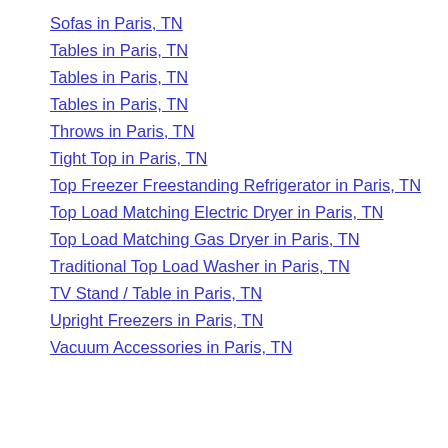Sofas in Paris, TN
Tables in Paris, TN
Tables in Paris, TN
Tables in Paris, TN
Throws in Paris, TN
Tight Top in Paris, TN
Top Freezer Freestanding Refrigerator in Paris, TN
Top Load Matching Electric Dryer in Paris, TN
Top Load Matching Gas Dryer in Paris, TN
Traditional Top Load Washer in Paris, TN
TV Stand / Table in Paris, TN
Upright Freezers in Paris, TN
Vacuum Accessories in Paris, TN